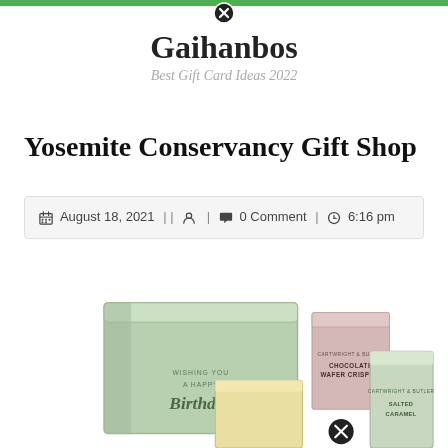Gaihanbos — Best Gift Card Ideas 2022
Yosemite Conservancy Gift Shop
August 18, 2021 | | [user icon] | [comment icon] 0 Comment | [clock icon] 6:16 pm
[Figure (photo): Gift boxes including a green box with 'Wishing You A Happy Birthday' text and several smaller product boxes including Chocolate Wafer Crispies and Salted Caramel]